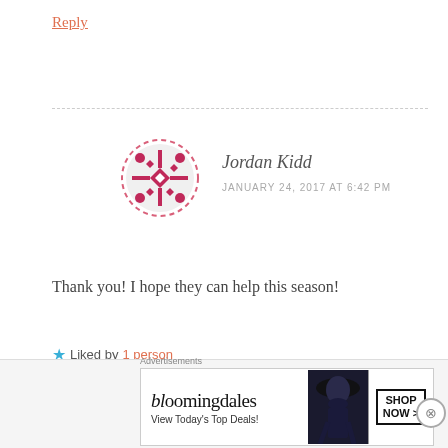Reply
[Figure (illustration): Circular avatar with dashed pink border and snowflake/geometric pattern in pink and white]
Jordan Kidd
JANUARY 24, 2017 AT 6:42 PM
Thank you! I hope they can help this season!
★ Liked by 1 person
Reply
Advertisements
Build a writing
Advertisements
[Figure (screenshot): Bloomingdales advertisement banner: bloomingdales logo, View Today's Top Deals!, woman in hat, SHOP NOW >]